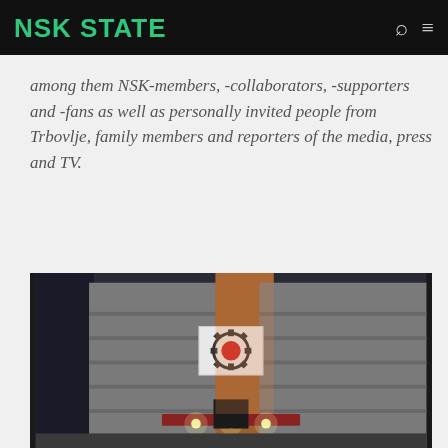NSK STATE
among them NSK-members, -collaborators, -supporters and -fans as well as personally invited people from Trbovlje, family members and reporters of the media, press and TV.
[Figure (photo): Exterior nighttime photograph of a building with a banner/flag displaying a gear and red symbol (NSK State emblem), illuminated by lights at the entrance.]